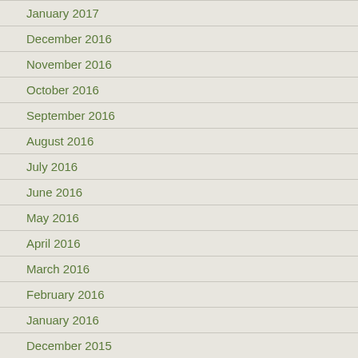January 2017
December 2016
November 2016
October 2016
September 2016
August 2016
July 2016
June 2016
May 2016
April 2016
March 2016
February 2016
January 2016
December 2015
November 2015